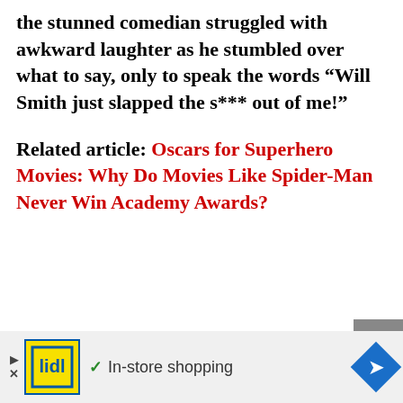the stunned comedian struggled with awkward laughter as he stumbled over what to say, only to speak the words “Will Smith just slapped the s*** out of me!”
Related article: Oscars for Superhero Movies: Why Do Movies Like Spider-Man Never Win Academy Awards?
[Figure (other): Grey scroll-to-top button with upward chevron arrow]
[Figure (infographic): Advertisement banner: Lidl logo (yellow/blue), checkmark, text 'In-store shopping', blue diamond arrow icon]